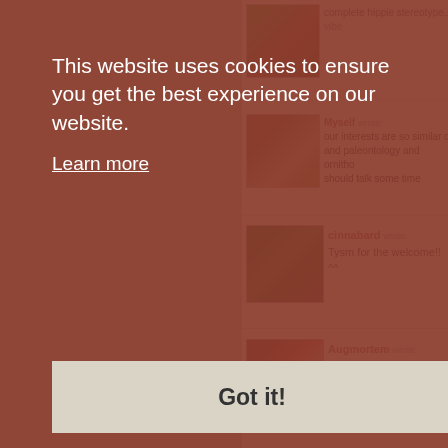[Figure (screenshot): Cookie consent banner overlay on a website showing comment entries. The banner reads 'This website uses cookies to ensure you get the best experience on our website.' with a 'Learn more' link and a 'Got it!' button. Behind the banner are partial comment entries including ones from 'cinnabard' saying 'Tysm for the welcome!! ^^' and 'Augmortem' saying 'awwww! You have a real nice... the arts! <3', and a partial entry from 'Myself' about shared interests in paleontology and ornithology.]